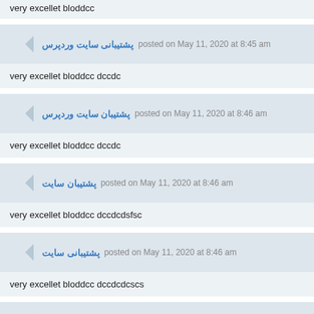very excellet bloddcc
پشتیبانی سایت وردپرس posted on May 11, 2020 at 8:45 am
very excellet bloddcc dccdc
پشتیبان سایت وردپرس posted on May 11, 2020 at 8:46 am
very excellet bloddcc dccdc
پشتیبان سایت posted on May 11, 2020 at 8:46 am
very excellet bloddcc dccdcdsfsc
پشتیبانی سایت posted on May 11, 2020 at 8:46 am
very excellet bloddcc dccdcdcscs